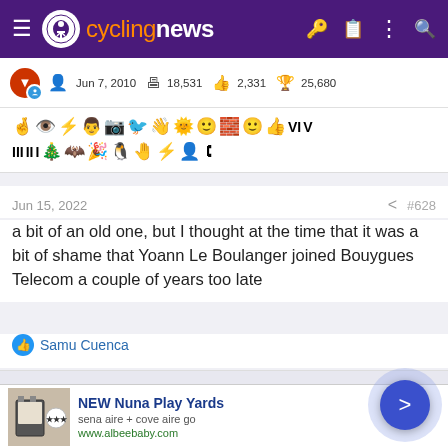cyclingnews
Jun 7, 2010   18,531   2,331   25,680
[Figure (other): Row of forum achievement/badge icons]
Jun 15, 2022   #628
a bit of an old one, but I thought at the time that it was a bit of shame that Yoann Le Boulanger joined Bouygues Telecom a couple of years too late
Samu Cuenca
[Figure (infographic): Advertisement: NEW Nuna Play Yards, sena aire + cove aire go, www.albeebaby.com]